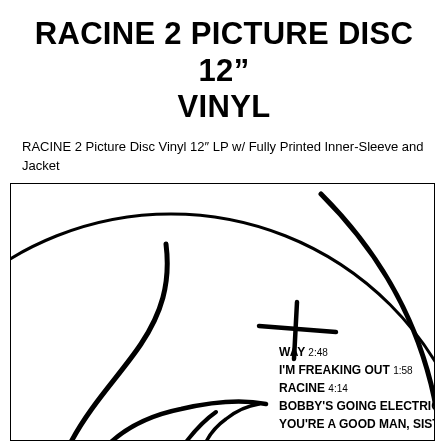RACINE 2 PICTURE DISC 12" VINYL
RACINE 2 Picture Disc Vinyl 12" LP w/ Fully Printed Inner-Sleeve and Jacket
[Figure (illustration): Black and white illustration of a vinyl record / picture disc showing a large circle with abstract line art resembling a smiley face or simple figure, with a cross/spindle hole marker in the center. Track listing visible in lower right: WAY 2:48, I'M FREAKING OUT 1:58, RACINE 4:14, BOBBY'S GOING ELECTRIC 2:5x, YOU'RE A GOOD MAN, SISTER...]